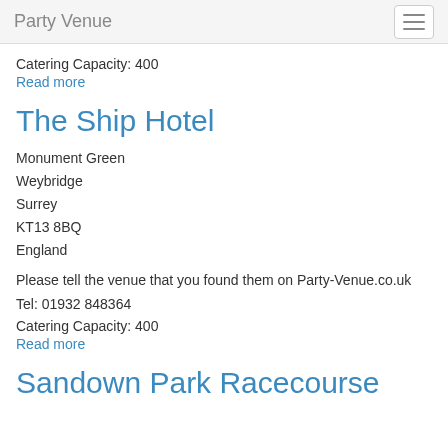Party Venue
Catering Capacity: 400
Read more
The Ship Hotel
Monument Green
Weybridge
Surrey
KT13 8BQ
England
Please tell the venue that you found them on Party-Venue.co.uk
Tel: 01932 848364
Catering Capacity: 400
Read more
Sandown Park Racecourse